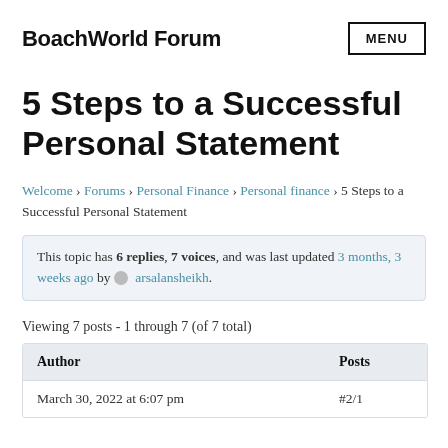BoachWorld Forum
5 Steps to a Successful Personal Statement
Welcome › Forums › Personal Finance › Personal finance › 5 Steps to a Successful Personal Statement
This topic has 6 replies, 7 voices, and was last updated 3 months, 3 weeks ago by arsalansheikh.
Viewing 7 posts - 1 through 7 (of 7 total)
| Author | Posts |
| --- | --- |
| March 30, 2022 at 6:07 pm | #2/1 |